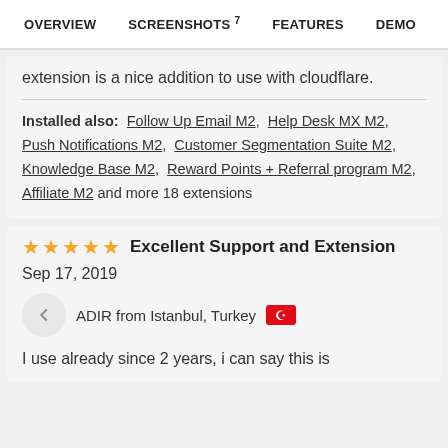OVERVIEW   SCREENSHOTS 7   FEATURES   DEMO
extension is a nice addition to use with cloudflare.
Installed also:  Follow Up Email M2,  Help Desk MX M2,  Push Notifications M2,  Customer Segmentation Suite M2,  Knowledge Base M2,  Reward Points + Referral program M2,  Affiliate M2 and more 18 extensions
Excellent Support and Extension
Sep 17, 2019
ADIR from Istanbul, Turkey
I use already since 2 years, i can say this is